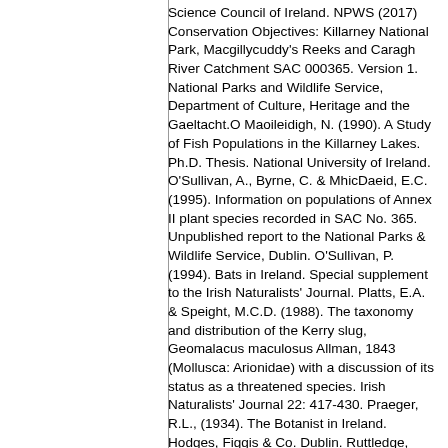Science Council of Ireland. NPWS (2017) Conservation Objectives: Killarney National Park, Macgillycuddy's Reeks and Caragh River Catchment SAC 000365. Version 1. National Parks and Wildlife Service, Department of Culture, Heritage and the Gaeltacht.O Maoileidigh, N. (1990). A Study of Fish Populations in the Killarney Lakes. Ph.D. Thesis. National University of Ireland. O'Sullivan, A., Byrne, C. & MhicDaeid, E.C. (1995). Information on populations of Annex II plant species recorded in SAC No. 365. Unpublished report to the National Parks & Wildlife Service, Dublin. O'Sullivan, P. (1994). Bats in Ireland. Special supplement to the Irish Naturalists' Journal. Platts, E.A. & Speight, M.C.D. (1988). The taxonomy and distribution of the Kerry slug, Geomalacus maculosus Allman, 1843 (Mollusca: Arionidae) with a discussion of its status as a threatened species. Irish Naturalists' Journal 22: 417-430. Praeger, R.L., (1934). The Botanist in Ireland. Hodges, Figgis & Co. Dublin. Ruttledge, R.F. & Ogilvie, M.A. (1979). The past and current status of the Greenland White-fronted Goose in Ireland and Britain. Irish Birds 1: 293-363.Scully, R.W. (1916). Flora of County Kerry. Hodges, Figgis & Co., Dublin. Sheppard, R. (1993). Ireland's Wetland Wealth. Irish Wildbird Conservancy, Dublin. Speight, M.C.D. (1972). Ground beetles (Col. Carabidae) from the Bourne Vincent National Park. Irish Naturalists' Journal 17: 226-230. Speight, M.C.D. (1976). Amara montivaga sturm (Col. Carabidae) in Ireland. Ent. Mon. Mag. 111 (1337-1339): 200. Speight, M.C.D. & de Courcy Williams, M. (1981). Macrophyta duodecempunctata, Nematus frenalis and Pamphilius gyllenhali: sawflies (Hymenoptera: Symphyta)